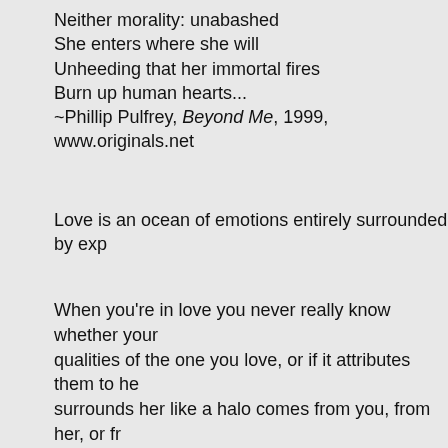Neither morality: unabashed
She enters where she will
Unheeding that her immortal fires
Burn up human hearts...
~Phillip Pulfrey, Beyond Me, 1999, www.originals.net
Love is an ocean of emotions entirely surrounded by exp...
When you're in love you never really know whether your qualities of the one you love, or if it attributes them to he... surrounds her like a halo comes from you, from her, or fr... sparks. ~Natalie Clifford Barney (1876–1972), translated...
Though lovers' talk may be light and trivial, it often prove... ~James Lendall Basford (1845–1915), Sparks from the F...
You know you have found love when you can't find your... rbrault.blogspot.com
If grass can grow through cement, love can find you at e...